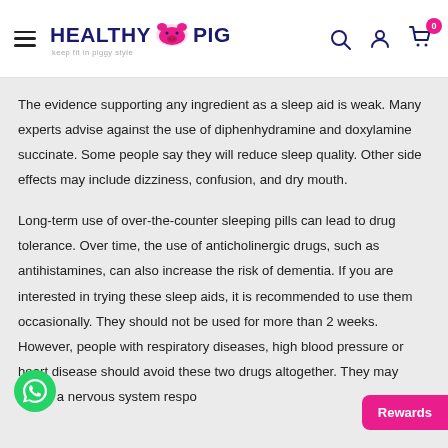HEALTHY PIG — keep fit in piggy style
The evidence supporting any ingredient as a sleep aid is weak. Many experts advise against the use of diphenhydramine and doxylamine succinate. Some people say they will reduce sleep quality. Other side effects may include dizziness, confusion, and dry mouth.
Long-term use of over-the-counter sleeping pills can lead to drug tolerance. Over time, the use of anticholinergic drugs, such as antihistamines, can also increase the risk of dementia. If you are interested in trying these sleep aids, it is recommended to use them occasionally. They should not be used for more than 2 weeks. However, people with respiratory diseases, high blood pressure or heart disease should avoid these two drugs altogether. They may cause a nervous system respo...